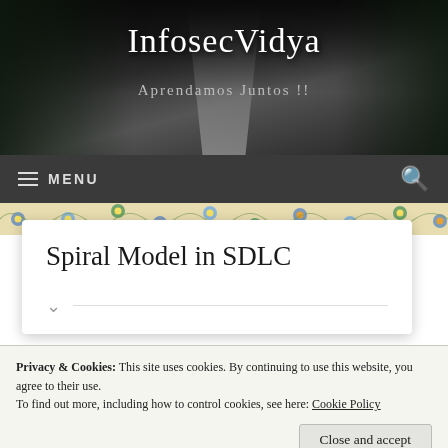InfosecVidya
Aprendamos Juntos !!
≡ MENU
[Figure (screenshot): Website screenshot of InfosecVidya blog showing a dark header with a winding road photo, the site title 'InfosecVidya', subtitle 'Aprendamos Juntos !!', a dark navigation bar with MENU and search icon, a floral decorative border, and an article card titled 'Spiral Model in SDLC'. A cookie consent notice overlays the bottom portion.]
Spiral Model in SDLC
Privacy & Cookies: This site uses cookies. By continuing to use this website, you agree to their use.
To find out more, including how to control cookies, see here: Cookie Policy
Close and accept